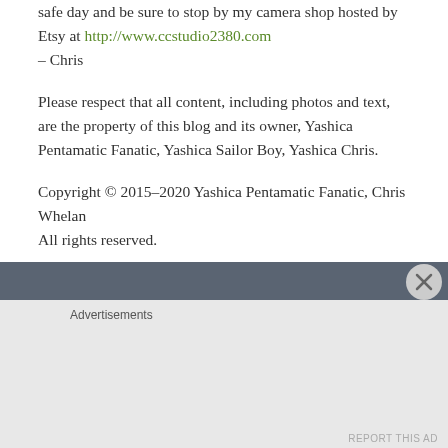safe day and be sure to stop by my camera shop hosted by Etsy at http://www.ccstudio2380.com – Chris
Please respect that all content, including photos and text, are the property of this blog and its owner, Yashica Pentamatic Fanatic, Yashica Sailor Boy, Yashica Chris.
Copyright © 2015-2020 Yashica Pentamatic Fanatic, Chris Whelan
All rights reserved.
Advertisements